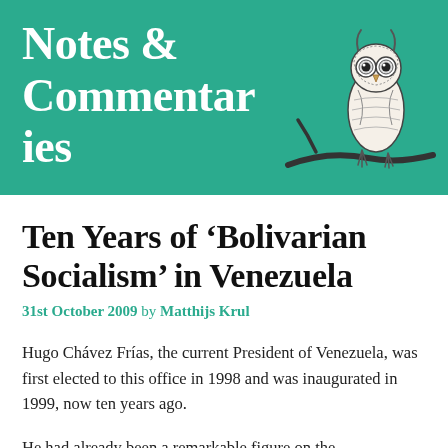Notes & Commentaries
[Figure (illustration): Ink illustration of an owl perched on a branch, facing forward, with detailed feather patterns. The branch extends to the left.]
Ten Years of ‘Bolivarian Socialism’ in Venezuela
31st October 2009 by Matthijs Krul
Hugo Chávez Frías, the current President of Venezuela, was first elected to this office in 1998 and was inaugurated in 1999, now ten years ago.
He had already been a remarkable figure on the